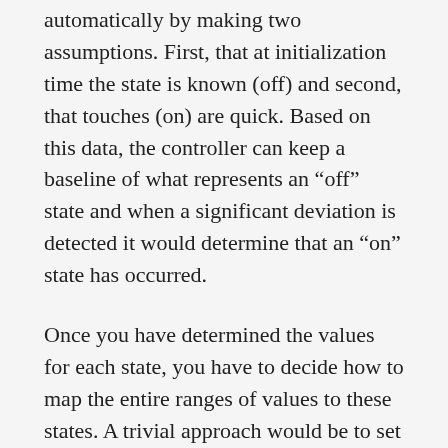automatically by making two assumptions. First, that at initialization time the state is known (off) and second, that touches (on) are quick. Based on this data, the controller can keep a baseline of what represents an “off” state and when a significant deviation is detected it would determine that an “on” state has occurred.
Once you have determined the values for each state, you have to decide how to map the entire ranges of values to these states. A trivial approach would be to set a single threshold that is in the middle between the two states. However, that can often generate unstable on/off switching if the signal oscillates around the threshold due to noise or an inaccurate reading. A popular approach is to use a Schmitt trigger, which is a dual threshold scheme which can be implemented in hardware or software. Each state